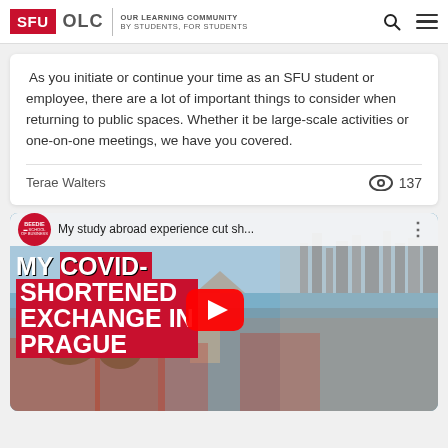SFU OLC | OUR LEARNING COMMUNITY BY STUDENTS, FOR STUDENTS
As you initiate or continue your time as an SFU student or employee, there are a lot of important things to consider when returning to public spaces. Whether it be large-scale activities or one-on-one meetings, we have you covered.
Terae Walters
137
[Figure (screenshot): YouTube video thumbnail titled 'My study abroad experience cut sh...' showing a video about 'MY COVID-SHORTENED EXCHANGE IN PRAGUE' with Beedie School of Business branding, a red YouTube play button, and a woman's face against a Prague cityscape background.]